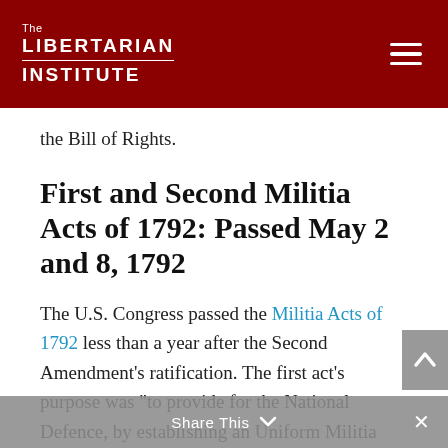The Libertarian Institute
the Bill of Rights.
First and Second Militia Acts of 1792: Passed May 2 and 8, 1792
The U.S. Congress passed the Militia Acts of 1792 less than a year after the Second Amendment’s ratification. The first act’s purpose was “to provide for the National Defence, by establishing an Uniform Militia throughout the United States.” This measure established the need and command structure for a state-based militia. The second act defined
Share This